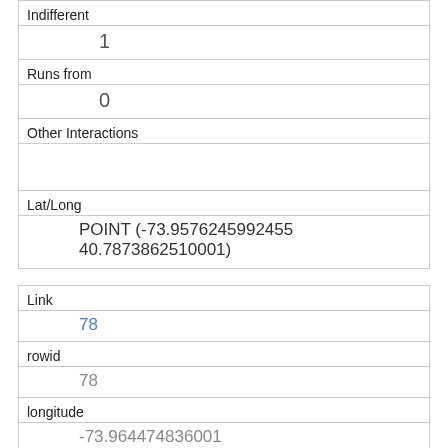| Indifferent | 1 |
| Runs from | 0 |
| Other Interactions |  |
| Lat/Long | POINT (-73.9576245992455 40.7873862510001) |
| Link | 78 |
| rowid | 78 |
| longitude | -73.964474836001 |
| latitude | 40.7883840104749 |
| Unique Squirrel ID | 28C-PM-1006-01 |
| Hectare | 28C |